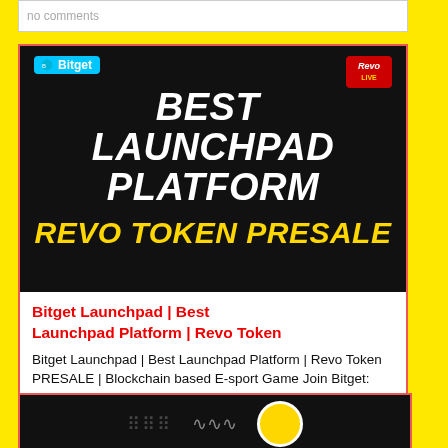no comments
[Figure (illustration): Dark banner with Bitget logo top-left, Revo logo top-right, bold white italic text 'BEST LAUNCHPAD PLATFORM' and yellow italic text 'REVO TOKEN PRESALE' on black background with game character silhouettes]
Bitget Launchpad | Best Launchpad Platform | Revo Token
Bitget Launchpad | Best Launchpad Platform | Revo Token PRESALE | Blockchain based E-sport Game Join Bitget: https://bit.ly/JoinBitget Important Links ● Bitget Launchpad: https://www.bitget.com/en/launchpad ● Revo Details: https://bitget.zendesk.com/hc/en-
402 views
10 comments
[Figure (screenshot): Dark bottom card snippet showing partial view of another card]